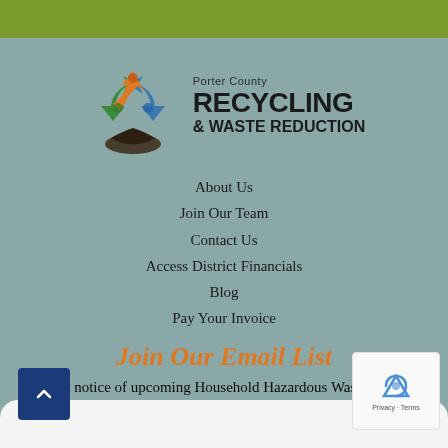[Figure (logo): Porter County Recycling & Waste Reduction logo with recycling arrows symbol and hand holding leaves, next to text 'Porter County RECYCLING & WASTE REDUCTION']
About Us
Join Our Team
Contact Us
Access District Financials
Blog
Pay Your Invoice
Join Our Email List
Get first notice of upcoming Household Hazardous Waste and other upcoming events.